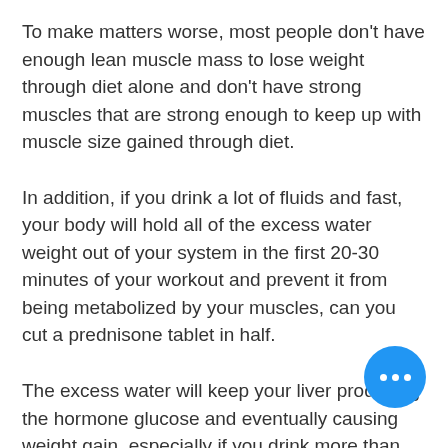To make matters worse, most people don't have enough lean muscle mass to lose weight through diet alone and don't have strong muscles that are strong enough to keep up with muscle size gained through diet.
In addition, if you drink a lot of fluids and fast, your body will hold all of the excess water weight out of your system in the first 20-30 minutes of your workout and prevent it from being metabolized by your muscles, can you cut a prednisone tablet in half.
The excess water will keep your liver producing the hormone glucose and eventually causing weight gain, especially if you drink more than you should do in a day, can you still lose weight while on predni...
Another factor in dieting is adding extra